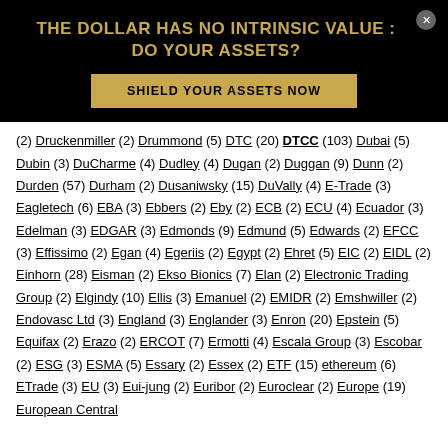THE DOLLAR HAS NO INTRINSIC VALUE : DO YOUR ASSETS?
SHIELD YOUR ASSETS NOW
(2) Druckenmiller (2) Drummond (5) DTC (20) DTCC (103) Dubai (5) Dubin (3) DuCharme (4) Dudley (4) Dugan (2) Duggan (9) Dunn (2) Durden (57) Durham (2) Dusaniwsky (15) DuVally (4) E-Trade (3) Eagletech (6) EBA (3) Ebbers (2) Eby (2) ECB (2) ECU (4) Ecuador (3) Edelman (3) EDGAR (3) Edmonds (9) Edmund (5) Edwards (2) EFCC (3) Effissimo (2) Egan (4) Egeriis (2) Egypt (2) Ehret (5) EIC (2) EIDL (2) Einhorn (28) Eisman (2) Ekso Bionics (7) Elan (2) Electronic Trading Group (2) Elgindy (10) Ellis (3) Emanuel (2) EMIDR (2) Emshwiller (2) Endovasc Ltd (3) England (3) Englander (3) Enron (20) Epstein (5) Equifax (2) Erazo (2) ERCOT (7) Ermotti (4) Escala Group (3) Escobar (2) ESG (3) ESMA (5) Essary (2) Essex (2) ETF (15) ethereum (6) ETrade (3) EU (3) Eui-jung (2) Euribor (2) Euroclear (2) Europe (19) European Central